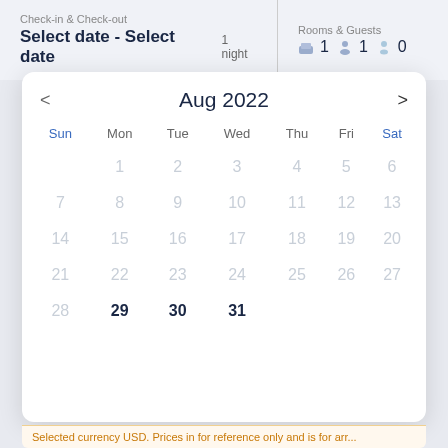Check-in & Check-out | Select date - Select date | 1 night | Rooms & Guests | 1 | 1 | 0
[Figure (screenshot): August 2022 calendar date picker popup with navigation arrows, day headers (Sun through Sat), and dates 1-31 displayed in a grid. Dates 28 is greyed, 29/30/31 are active/bold. All other dates (1-27) appear in muted grey.]
Selected currency USD. Prices in for reference only and is for arr...